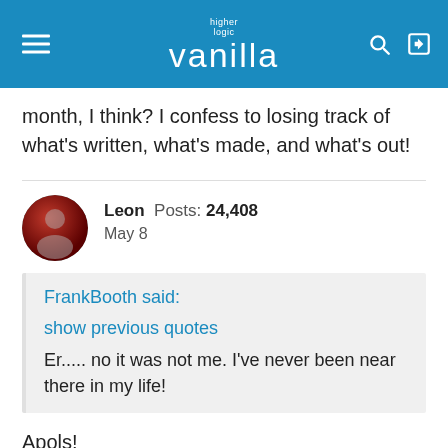higher logic vanilla
month, I think? I confess to losing track of what's written, what's made, and what's out!
Leon  Posts: 24,408
May 8
FrankBooth said:
show previous quotes
Er..... no it was not me. I've never been near there in my life!
Apols!
A PB-er was deffo there. I recall reading their travelogue with interest